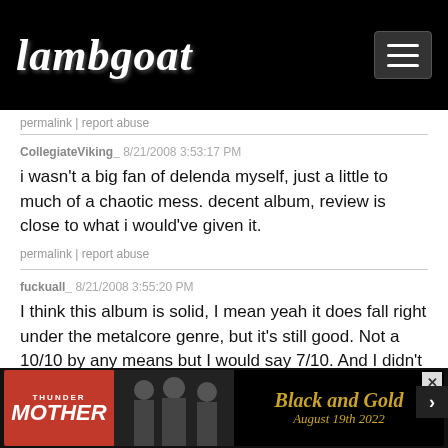Lambgoat
permalink | report abuse
CollegiateViking_  8/21/2008 3:53:17 PM

i wasn't a big fan of delenda myself, just a little to much of a chaotic mess. decent album, review is close to what i would've given it.

permalink | report abuse
fuckuall_  8/21/2008 3:55:20 PM

I think this album is solid, I mean yeah it does fall right under the metalcore genre, but it's still good. Not a 10/10 by any means but I would say 7/10. And I didn't know they broke up!

permalink | report abuse
mother
clean vo...
[Figure (advertisement): Thundermother Black and Gold August 19th 2022 advertisement banner]